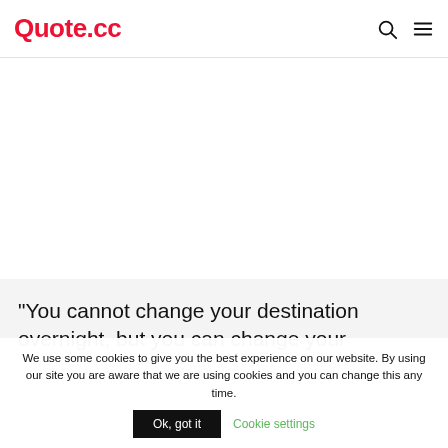Quote.cc
“You cannot change your destination overnight, but you can change your
We use some cookies to give you the best experience on our website. By using our site you are aware that we are using cookies and you can change this any time.
Ok, got it
Cookie settings